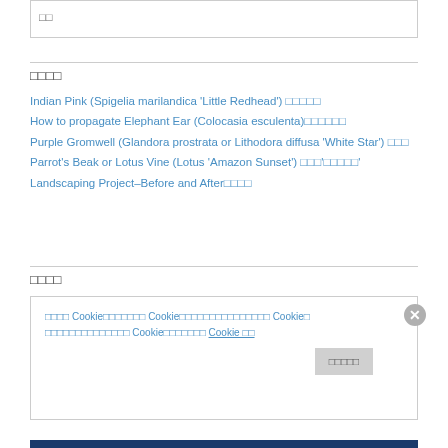□□
□□□□
Indian Pink (Spigelia marilandica 'Little Redhead') □□□□□
How to propagate Elephant Ear (Colocasia esculenta)□□□□□□
Purple Gromwell (Glandora prostrata or Lithodora diffusa 'White Star') □□□
Parrot's Beak or Lotus Vine (Lotus 'Amazon Sunset') □□□'□□□□□'
Landscaping Project–Before and After□□□□
□□□□
□□□□ Cookie□□□□□□□ Cookie□□□□□□□□□□□□□□□ Cookie□□□□□□□□□□□□□□□ Cookie□□□□□□□ Cookie □□